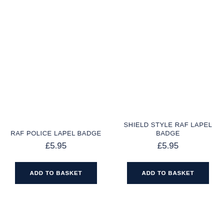RAF POLICE LAPEL BADGE
£5.95
ADD TO BASKET
SHIELD STYLE RAF LAPEL BADGE
£5.95
ADD TO BASKET